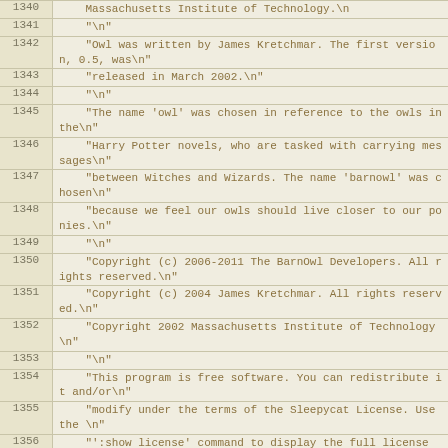| line | code |
| --- | --- |
| 1340 |     Massachusetts Institute of Technology.\n |
| 1341 |     "\n" |
| 1342 |     "Owl was written by James Kretchmar. The first version, 0.5, was\n" |
| 1343 |     "released in March 2002.\n" |
| 1344 |     "\n" |
| 1345 |     "The name 'owl' was chosen in reference to the owls in the\n" |
| 1346 |     "Harry Potter novels, who are tasked with carrying messages\n" |
| 1347 |     "between Witches and Wizards. The name 'barnowl' was chosen\n" |
| 1348 |     "because we feel our owls should live closer to our ponies.\n" |
| 1349 |     "\n" |
| 1350 |     "Copyright (c) 2006-2011 The BarnOwl Developers. All rights reserved.\n" |
| 1351 |     "Copyright (c) 2004 James Kretchmar. All rights reserved.\n" |
| 1352 |     "Copyright 2002 Massachusetts Institute of Technology\n" |
| 1353 |     "\n" |
| 1354 |     "This program is free software. You can redistribute it and/or\n" |
| 1355 |     "modify under the terms of the Sleepycat License. Use the \n" |
| 1356 |     "':show license' command to display the full license\n" |
| 1357 |     ); |
| 1358 | } |
| 1359 |  |
| 1360 | void owl_function_info(void) |
| 1361 | { |
| 1362 |   const owl_message *m; |